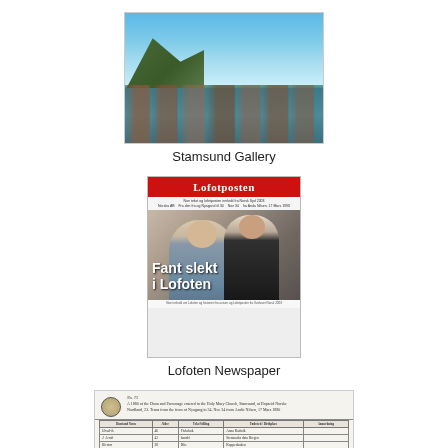[Figure (photo): Photograph of Stamsund harbor with red wooden buildings on stilts over water, boats, rocky hillside with green vegetation, and blue sky]
Stamsund Gallery
[Figure (photo): Front page of Lofoten newspaper Lofotposten showing two people and headline 'Fant slekt i Lofoten']
Lofoten Newspaper
[Figure (photo): Scanned historical document or church register from Stamsund with handwritten entries in columns and signatures at bottom]
Stamsund Research